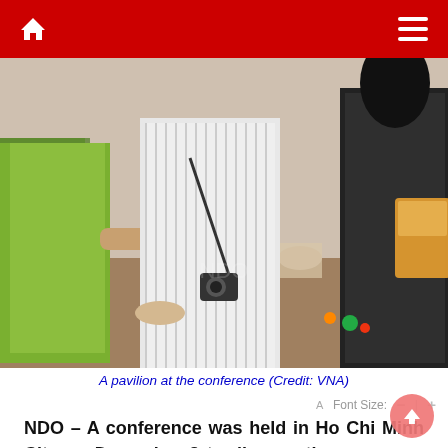NDO — News website navigation bar
[Figure (photo): People at a conference pavilion examining food products on a display table. A woman in green and a man with a camera interact with a woman in black holding packaged goods.]
A pavilion at the conference (Credit: VNA)
Font Size: - | +
NDO – A conference was held in Ho Chi Minh City on December 8 to discuss the measures required to enhance the supply and demand connection for goods among units and localities.
The event brought together 2,763 enterprises from 39